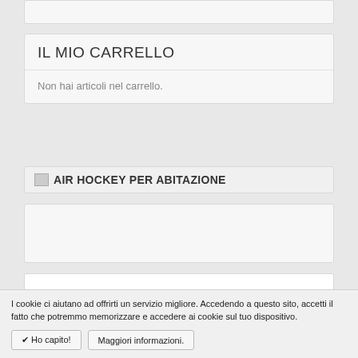IL MIO CARRELLO
Non hai articoli nel carrello.
AIR HOCKEY PER ABITAZIONE
[Figure (photo): Air hockey table for home use, seen from an angle, white surface with red pucks/strikers, dark border]
I cookie ci aiutano ad offrirti un servizio migliore. Accedendo a questo sito, accetti il fatto che potremmo memorizzare e accedere ai cookie sul tuo dispositivo.
✔ Ho capito!
Maggiori informazioni.